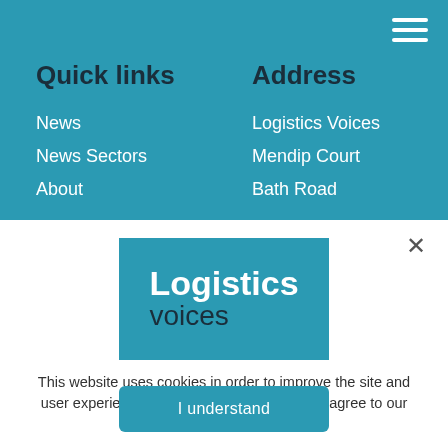Quick links
Address
News
News Sectors
About
Logistics Voices
Mendip Court
Bath Road
[Figure (logo): Logistics Voices logo — teal rectangle with 'Logistics' in bold white and 'voices' in dark blue below]
This website uses cookies in order to improve the site and user experience. By continuing to use it, you agree to our Privacy Policy.
I understand